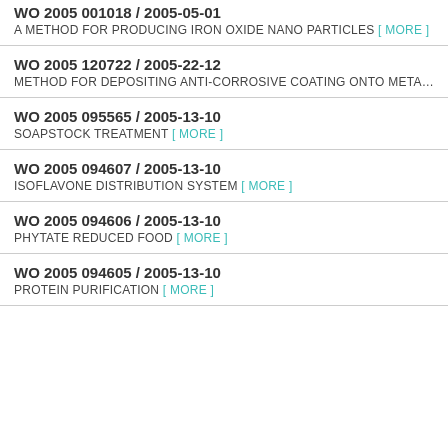WO 2005 001018 / 2005-05-01 — A METHOD FOR PRODUCING IRON OXIDE NANO PARTICLES [ More ]
WO 2005 120722 / 2005-22-12 — METHOD FOR DEPOSITING ANTI-CORROSIVE COATING ONTO META…
WO 2005 095565 / 2005-13-10 — SOAPSTOCK TREATMENT [ More ]
WO 2005 094607 / 2005-13-10 — ISOFLAVONE DISTRIBUTION SYSTEM [ More ]
WO 2005 094606 / 2005-13-10 — PHYTATE REDUCED FOOD [ More ]
WO 2005 094605 / 2005-13-10 — PROTEIN PURIFICATION [ More ]